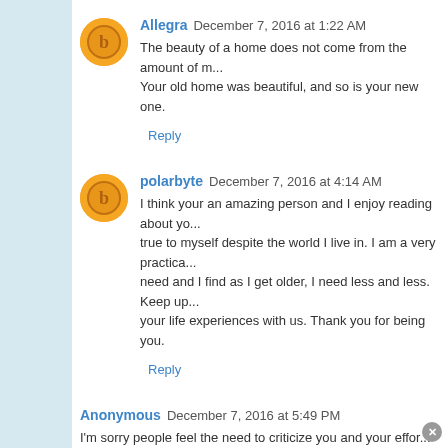Allegra  December 7, 2016 at 1:22 AM
The beauty of a home does not come from the amount of m... Your old home was beautiful, and so is your new one.
Reply
polarbyte  December 7, 2016 at 4:14 AM
I think your an amazing person and I enjoy reading about yo... true to myself despite the world I live in. I am a very practica... need and I find as I get older, I need less and less. Keep up... your life experiences with us. Thank you for being you.
Reply
Anonymous  December 7, 2016 at 5:49 PM
I'm sorry people feel the need to criticize you and your effor... an admirable job creating a welcoming and comfortable ho... and inspired by your blog. Keep up the good work and co... pictures!
Reply